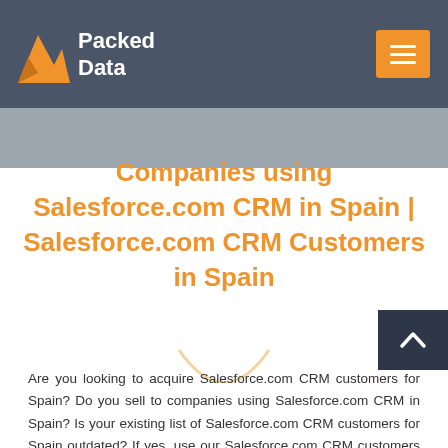Packed Data
Companies using Salesforce.com CRM in Spain | Salesforce.com CRM Customers in Spain
Are you looking to acquire Salesforce.com CRM customers for Spain? Do you sell to companies using Salesforce.com CRM in Spain? Is your existing list of Salesforce.com CRM customers for Spain outdated? If yes, use our Salesforce.com CRM customers list for Spain to improve your marketing ROI.